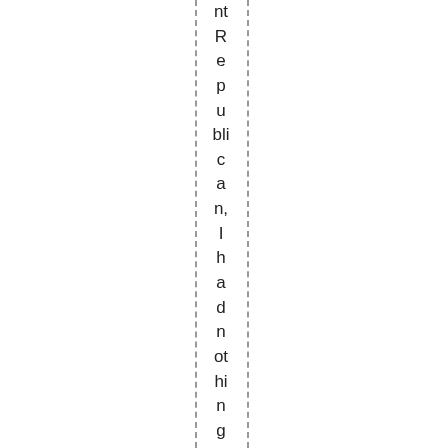nt Republican, I had nothing to lose, sold determin